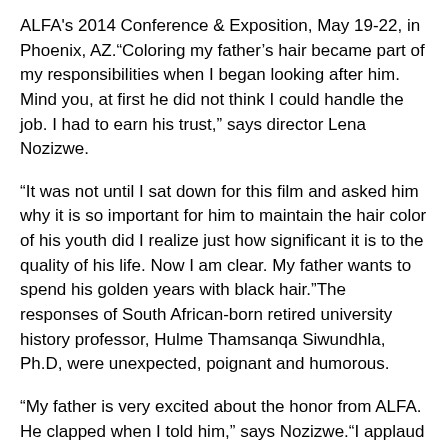ALFA's 2014 Conference & Exposition, May 19-22, in Phoenix, AZ.“Coloring my father’s hair became part of my responsibilities when I began looking after him. Mind you, at first he did not think I could handle the job. I had to earn his trust,” says director Lena Nozizwe.
“It was not until I sat down for this film and asked him why it is so important for him to maintain the hair color of his youth did I realize just how significant it is to the quality of his life. Now I am clear. My father wants to spend his golden years with black hair.”The responses of South African-born retired university history professor, Hulme Thamsanqa Siwundhla, Ph.D, were unexpected, poignant and humorous.
“My father is very excited about the honor from ALFA. He clapped when I told him,” says Nozizwe.“I applaud ALFA as well and thank the organization for the opportunity to share a film that promotes understanding, while respecting the elders among us.”Following the premiere screening at ALFA's convention, "A Father to Dye For" will be available online via www.alfa.org.